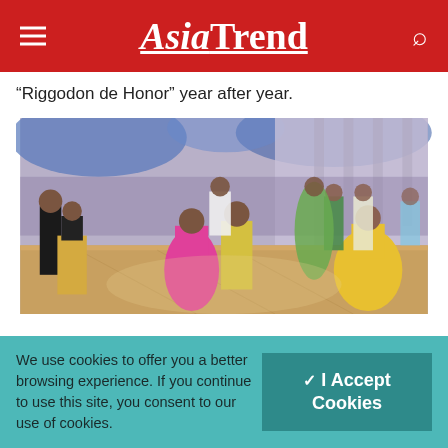AsiaTrend
“Riggodon de Honor” year after year.
[Figure (photo): People dancing the Riggodon de Honor in traditional Filipino formal attire (barong tagalog and terno gowns) in a ballroom with blue-lit drapery in the background.]
We use cookies to offer you a better browsing experience. If you continue to use this site, you consent to our use of cookies.